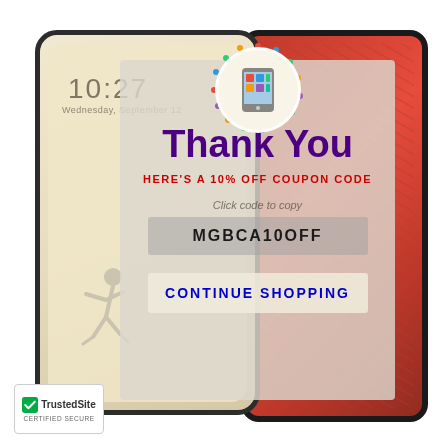[Figure (screenshot): E-commerce thank you page shown on a mobile phone/device screen overlay, with a rugged red phone case in background. Contains thank you message, 10% off coupon code MGBCA10OFF, and continue shopping button. TrustedSite certified secure badge in bottom left corner.]
Thank You
HERE'S A 10% OFF COUPON CODE
Click code to copy
MGBCA10OFF
CONTINUE SHOPPING
TrustedSite
CERTIFIED SECURE